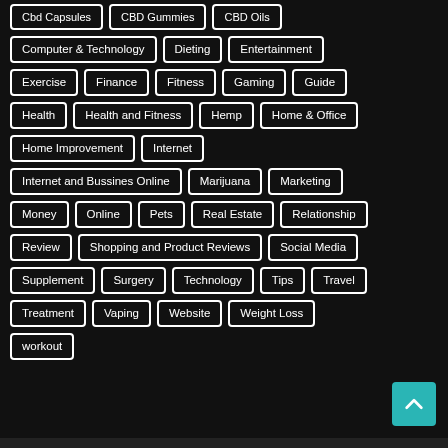Cbd Capsules
CBD Gummies
CBD Oils
Computer & Technology
Dieting
Entertainment
Exercise
Finance
Fitness
Gaming
Guide
Health
Health and Fitness
Hemp
Home & Office
Home Improvement
Internet
Internet and Bussines Online
Marijuana
Marketing
Money
Online
Pets
Real Estate
Relationship
Review
Shopping and Product Reviews
Social Media
Supplement
Surgery
Technology
Tips
Travel
Treatment
Vaping
Website
Weight Loss
workout